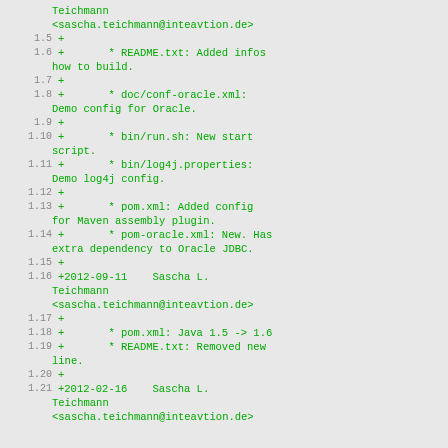Teichmann
<sascha.teichmann@inteavtion.de>
1.5  +
1.6  +       * README.txt: Added infos how to build.
1.7  +
1.8  +       * doc/conf-oracle.xml: Demo config for Oracle.
1.9  +
1.10 +       * bin/run.sh: New start script.
1.11 +       * bin/log4j.properties: Demo log4j config.
1.12 +
1.13 +       * pom.xml: Added config for Maven assembly plugin.
1.14 +       * pom-oracle.xml: New. Has extra dependency to Oracle JDBC.
1.15 +
1.16 +2012-09-11    Sascha L. Teichmann <sascha.teichmann@inteavtion.de>
1.17 +
1.18 +       * pom.xml: Java 1.5 -> 1.6
1.19 +       * README.txt: Removed new line.
1.20 +
1.21 +2012-02-16    Sascha L. Teichmann <sascha.teichmann@inteavtion.de>